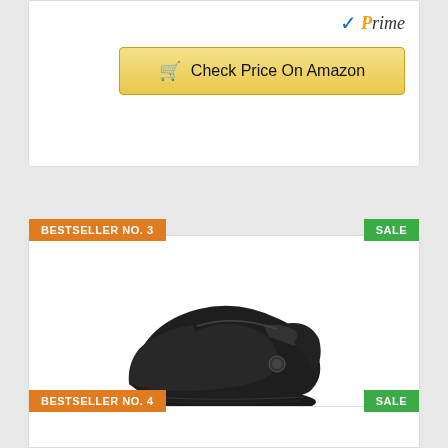[Figure (other): Amazon Prime logo with blue checkmark and italic Prime text]
Check Price On Amazon
BESTSELLER NO. 3
SALE
[Figure (photo): Black Crocs Women's Mercy Clog slip resistant work shoe shown in profile on white background]
Crocs Women's Mercy Clog | Slip Resistant Work Shoes, Black/Black, 6
[Figure (other): Amazon Prime logo with blue checkmark and italic Prime text]
Check Price On Amazon
BESTSELLER NO. 4
SALE